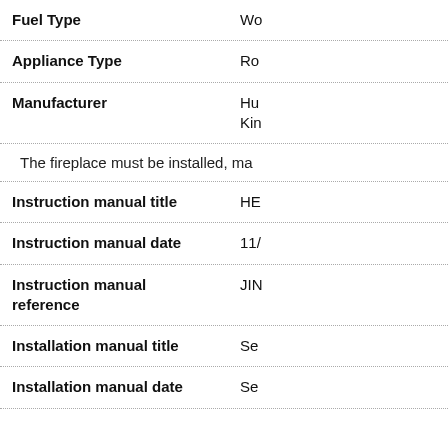| Field | Value |
| --- | --- |
| Fuel Type | Wo... |
| Appliance Type | Ro... |
| Manufacturer | Hu... Ki... |
|  | The fireplace must be installed, ma... |
| Instruction manual title | HE... |
| Instruction manual date | 11/... |
| Instruction manual reference | JIN... |
| Installation manual title | Se... |
| Installation manual date | Se... |